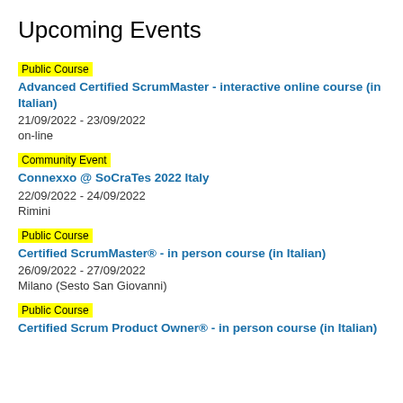Upcoming Events
Public Course | Advanced Certified ScrumMaster - interactive online course (in Italian) | 21/09/2022 - 23/09/2022 | on-line
Community Event | Connexxo @ SoCraTes 2022 Italy | 22/09/2022 - 24/09/2022 | Rimini
Public Course | Certified ScrumMaster® - in person course (in Italian) | 26/09/2022 - 27/09/2022 | Milano (Sesto San Giovanni)
Public Course | Certified Scrum Product Owner® - in person course (in Italian)